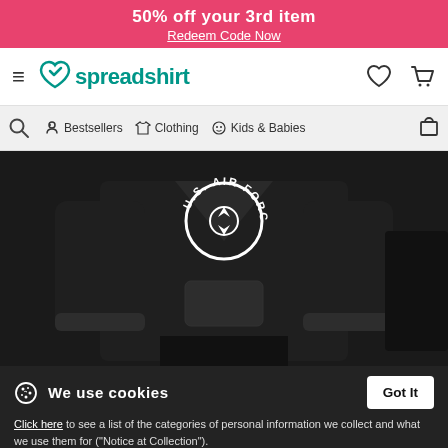50% off your 3rd item
Redeem Code Now
[Figure (logo): Spreadshirt logo with heart icon in teal/green color]
Bestsellers  Clothing  Kids & Babies
[Figure (photo): Black hoodie sweatshirt with U.S. Air Force text and logo on front, worn by a person against a dark background]
We use cookies
Click here to see a list of the categories of personal information we collect and what we use them for ("Notice at Collection").
$49.99
Privacy Policy
Do Not Sell My Personal Information
By using this website, I agree to the Terms and Conditions